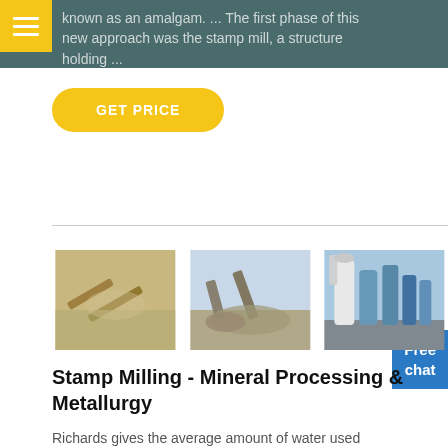known as an amalgam. ... The first phase of this new approach was the stamp mill, a structure holding ...
GET PRICE
[Figure (photo): Three industrial/mining machinery photos side by side: left shows a dusty stamp mill crusher, center shows a rock crushing conveyor with aggregate pile, right shows industrial silos and processing towers.]
Stamp Milling - Mineral Processing & Metallurgy
Richards gives the average amount of water used